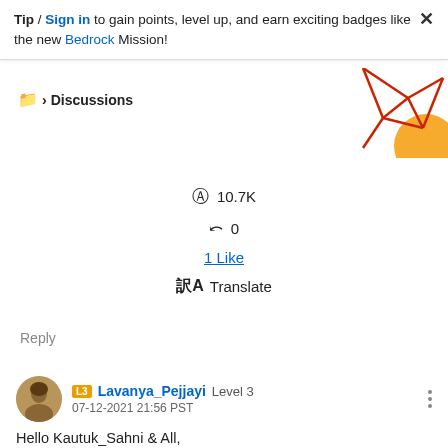Tip / Sign in to gain points, level up, and earn exciting badges like the new Bedrock Mission!
Discussions
[Figure (illustration): Decorative graphic with red geometric lines and orange circle shapes in the top-right corner]
10.7K
0
1 Like
Translate
Reply
Lavanya_Pejjayi Level 3 07-12-2021 21:56 PST
Hello Kautuk_Sahni & All,